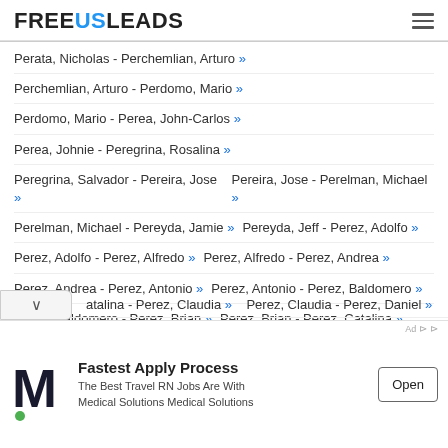FREEUSLEADS
Perata, Nicholas - Perchemlian, Arturo »
Perchemlian, Arturo - Perdomo, Mario »
Perdomo, Mario - Perea, John-Carlos »
Perea, Johnie - Peregrina, Rosalina »
Peregrina, Salvador - Pereira, Jose »  Pereira, Jose - Perelman, Michael »
Perelman, Michael - Pereyda, Jamie »  Pereyda, Jeff - Perez, Adolfo »
Perez, Adolfo - Perez, Alfredo »  Perez, Alfredo - Perez, Andrea »
Perez, Andrea - Perez, Antonio »  Perez, Antonio - Perez, Baldomero »
Perez, Baldomero - Perez, Brian »  Perez, Brian - Perez, Catalina »
Catalina - Perez, Claudia »  Perez, Claudia - Perez, Daniel »
[Figure (infographic): Advertisement banner: Medical Solutions logo (M with green dot), text 'Fastest Apply Process - The Best Travel RN Jobs Are With Medical Solutions Medical Solutions', Open button]